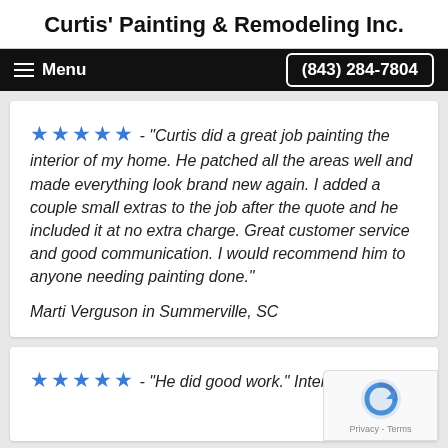Curtis' Painting & Remodeling Inc.
Menu  (843) 284-7804
★★★★★ - "Curtis did a great job painting the interior of my home. He patched all the areas well and made everything look brand new again. I added a couple small extras to the job after the quote and he included it at no extra charge. Great customer service and good communication. I would recommend him to anyone needing painting done."
Marti Verguson in Summerville, SC
★★★★★ - "He did good work." Interior Painting